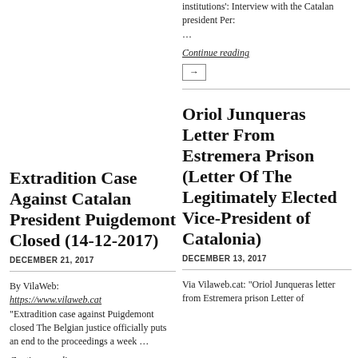institutions': Interview with the Catalan president Per: ...
Continue reading
→
Extradition Case Against Catalan President Puigdemont Closed (14-12-2017)
DECEMBER 21, 2017
By VilaWeb: https://www.vilaweb.cat "Extradition case against Puigdemont closed The Belgian justice officially puts an end to the proceedings a week …
Continue reading
Oriol Junqueras Letter From Estremera Prison (Letter Of The Legitimately Elected Vice-President of Catalonia)
DECEMBER 13, 2017
Via Vilaweb.cat: "Oriol Junqueras letter from Estremera prison Letter of